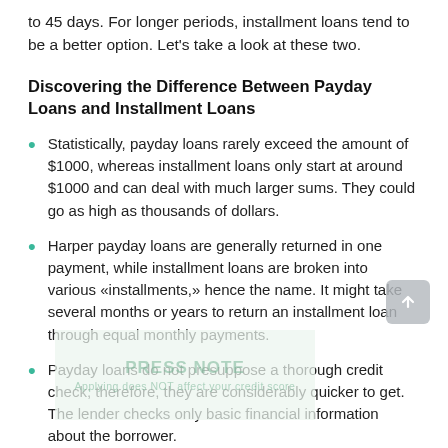to 45 days. For longer periods, installment loans tend to be a better option. Let's take a look at these two.
Discovering the Difference Between Payday Loans and Installment Loans
Statistically, payday loans rarely exceed the amount of $1000, whereas installment loans only start at around $1000 and can deal with much larger sums. They could go as high as thousands of dollars.
Harper payday loans are generally returned in one payment, while installment loans are broken into various «installments,» hence the name. It might take several months or years to return an installment loan through equal monthly payments.
Payday loans do not presuppose a thorough credit check; therefore, they are considerably quicker to get. The lender checks only basic financial information about the borrower.